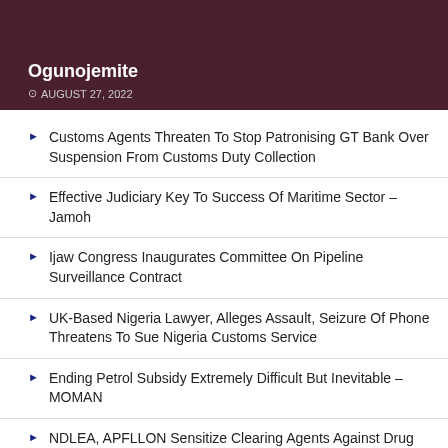[Figure (photo): Dark maroon/burgundy background hero image with overlaid text showing author name Ogunojemite and date]
Ogunojemite
AUGUST 27, 2022
Customs Agents Threaten To Stop Patronising GT Bank Over Suspension From Customs Duty Collection
Effective Judiciary Key To Success Of Maritime Sector – Jamoh
Ijaw Congress Inaugurates Committee On Pipeline Surveillance Contract
UK-Based Nigeria Lawyer, Alleges Assault, Seizure Of Phone Threatens To Sue Nigeria Customs Service
Ending Petrol Subsidy Extremely Difficult But Inevitable – MOMAN
NDLEA, APFLLON Sensitize Clearing Agents Against Drug Abuse, Trafficking In Lagos
VESSELS EXPECTED AT LAGOS PORT AS AT SATURDAY